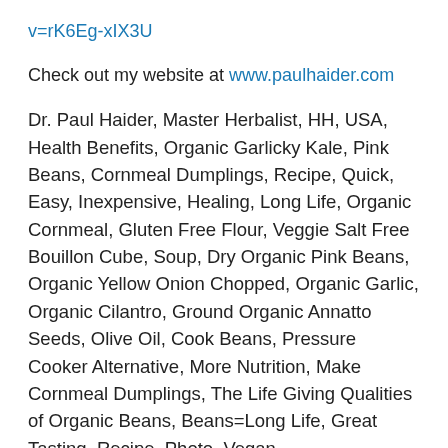v=rK6Eg-xIX3U
Check out my website at www.paulhaider.com
Dr. Paul Haider, Master Herbalist, HH, USA, Health Benefits, Organic Garlicky Kale, Pink Beans, Cornmeal Dumplings, Recipe, Quick, Easy, Inexpensive, Healing, Long Life, Organic Cornmeal, Gluten Free Flour, Veggie Salt Free Bouillon Cube, Soup, Dry Organic Pink Beans, Organic Yellow Onion Chopped, Organic Garlic, Organic Cilantro, Ground Organic Annatto Seeds, Olive Oil, Cook Beans, Pressure Cooker Alternative, More Nutrition, Make Cornmeal Dumplings, The Life Giving Qualities of Organic Beans, Beans=Long Life, Great Tasting, Recipe, Photo, Vegan,
Here is my Google+ address if any of you would like to